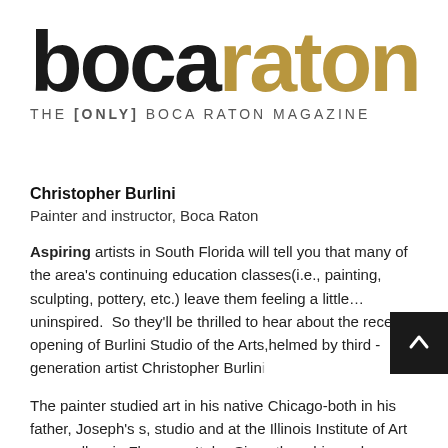[Figure (logo): Boca Raton magazine logo: 'boca' in black bold sans-serif and 'raton' in gold/tan bold sans-serif, with tagline 'THE [ONLY] BOCA RATON MAGAZINE' below in gray spaced capitals]
Christopher Burlini
Painter and instructor, Boca Raton
Aspiring artists in South Florida will tell you that many of the area's continuing education classes(i.e., painting, sculpting, pottery, etc.) leave them feeling a little…uninspired.  So they'll be thrilled to hear about the recent opening of Burlini Studio of the Arts,helmed by third - generation artist Christopher Burlini
The painter studied art in his native Chicago-both in his father, Joseph's s, studio and at the Illinois Institute of Art – as well as in Florence, Italy.  Since then, his works, which he describes a